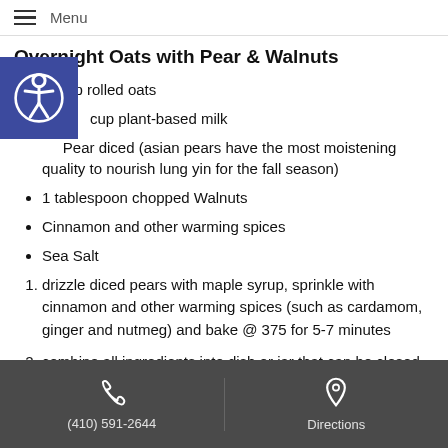Menu
Overnight Oats with Pear & Walnuts
½ cup rolled oats
½ cup plant-based milk
½ Pear diced (asian pears have the most moistening quality to nourish lung yin for the fall season)
1 tablespoon chopped Walnuts
Cinnamon and other warming spices
Sea Salt
1. drizzle diced pears with maple syrup, sprinkle with cinnamon and other warming spices (such as cardamom, ginger and nutmeg) and bake @ 375 for 5-7 minutes
2. combine all ingredients into dish or jar that can be closed with a
(410) 591-2644    Directions